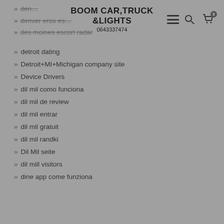BOOM CAR,TRUCK &LIGHTS
0643337474
denver eros escort
denver eros escort
des moines escort radar
detroit dating
Detroit+MI+Michigan company site
Device Drivers
dil mil como funciona
dil mil de review
dil mil entrar
dil mil gratuit
dil mil randki
Dil Mil seite
dil mill visitors
dine app come funziona